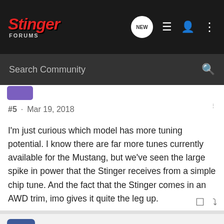Stinger Forums
Search Community
#5 · Mar 19, 2018
I'm just curious which model has more tuning potential. I know there are far more tunes currently available for the Mustang, but we've seen the large spike in power that the Stinger receives from a simple chip tune. And the fact that the Stinger comes in an AWD trim, imo gives it quite the leg up.
GTSeoul · Registered
Joined May 9, 2017 · 248 Posts